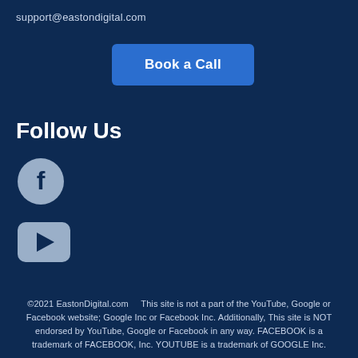support@eastondigital.com
Book a Call
Follow Us
[Figure (logo): Facebook icon — grey circle with white 'f' letter]
[Figure (logo): YouTube icon — grey rounded rectangle with white play triangle]
©2021 EastonDigital.com    This site is not a part of the YouTube, Google or Facebook website; Google Inc or Facebook Inc. Additionally, This site is NOT endorsed by YouTube, Google or Facebook in any way. FACEBOOK is a trademark of FACEBOOK, Inc. YOUTUBE is a trademark of GOOGLE Inc.